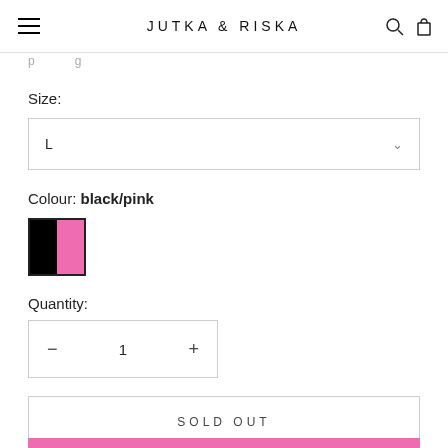JUTKA & RISKA
Size:
L
Colour: black/pink
Quantity:
1
SOLD OUT